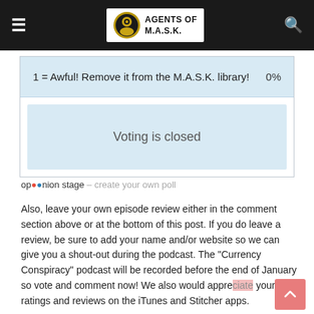Agents of M.A.S.K.
1 = Awful! Remove it from the M.A.S.K. library! 0%
Voting is closed
opinion stage - create your own poll
Also, leave your own episode review either in the comment section above or at the bottom of this post. If you do leave a review, be sure to add your name and/or website so we can give you a shout-out during the podcast. The "Currency Conspiracy" podcast will be recorded before the end of January so vote and comment now! We also would appreciate your star ratings and reviews on the iTunes and Stitcher apps.